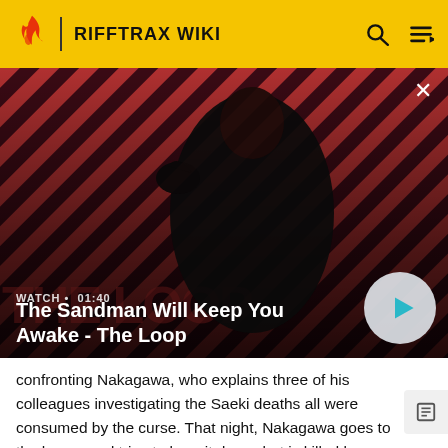RIFFTRAX WIKI
[Figure (screenshot): Video thumbnail showing a dark-cloaked figure with a raven on their shoulder against a red and black diagonal stripe background. Text overlay reads WATCH · 01:40 and title The Sandman Will Keep You Awake - The Loop with a play button circle on the right.]
confronting Nakagawa, who explains three of his colleagues investigating the Saeki deaths all were consumed by the curse. That night, Nakagawa goes to the house and tries to burn it down, but is killed by Takeo.
Karen races to the house upon learning Doug has